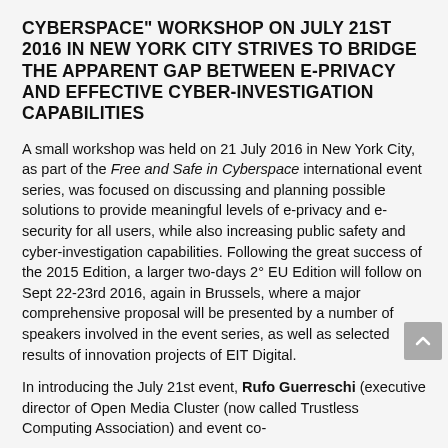CYBERSPACE" WORKSHOP ON JULY 21ST 2016 IN NEW YORK CITY STRIVES TO BRIDGE THE APPARENT GAP BETWEEN E-PRIVACY AND EFFECTIVE CYBER-INVESTIGATION CAPABILITIES
A small workshop was held on 21 July 2016 in New York City, as part of the Free and Safe in Cyberspace international event series, was focused on discussing and planning possible solutions to provide meaningful levels of e-privacy and e-security for all users, while also increasing public safety and cyber-investigation capabilities. Following the great success of the 2015 Edition, a larger two-days 2° EU Edition will follow on Sept 22-23rd 2016, again in Brussels, where a major comprehensive proposal will be presented by a number of speakers involved in the event series, as well as selected results of innovation projects of EIT Digital.
In introducing the July 21st event, Rufo Guerreschi (executive director of Open Media Cluster (now called Trustless Computing Association) and event co-